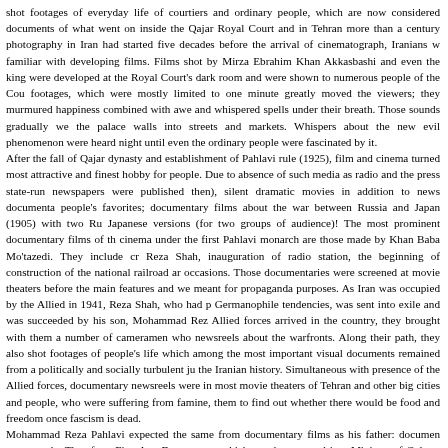shot footages of everyday life of courtiers and ordinary people, which are now considered documents of what went on inside the Qajar Royal Court and in Tehran more than a century photography in Iran had started five decades before the arrival of cinematograph, Iranians w familiar with developing films. Films shot by Mirza Ebrahim Khan Akkasbashi and even the king were developed at the Royal Court's dark room and were shown to numerous people of the Cou footages, which were mostly limited to one minute greatly moved the viewers; they murmured happiness combined with awe and whispered spells under their breath. Those sounds gradually we the palace walls into streets and markets. Whispers about the new evil phenomenon were heard night until even the ordinary people were fascinated by it. After the fall of Qajar dynasty and establishment of Pahlavi rule (1925), film and cinema turned most attractive and finest hobby for people. Due to absence of such media as radio and the press state-run newspapers were published then), silent dramatic movies in addition to news documenta people's favorites; documentary films about the war between Russia and Japan (1905) with two Ru Japanese versions (for two groups of audience)! The most prominent documentary films of th cinema under the first Pahlavi monarch are those made by Khan Baba Mo'tazedi. They include cr Reza Shah, inauguration of radio station, the beginning of construction of the national railroad ar occasions. Those documentaries were screened at movie theaters before the main features and we meant for propaganda purposes. As Iran was occupied by the Allied in 1941, Reza Shah, who had p Germanophile tendencies, was sent into exile and was succeeded by his son, Mohammad Rez Allied forces arrived in the country, they brought with them a number of cameramen who newsreels about the warfronts. Along their path, they also shot footages of people's life which among the most important visual documents remained from a politically and socially turbulent ju the Iranian history. Simultaneous with presence of the Allied forces, documentary newsreels were in most movie theaters of Tehran and other big cities and people, who were suffering from famine, them to find out whether there would be food and freedom once fascism is dead. Mohammad Reza Pahlavi expected the same from documentary films as his father: documen propaganda. Therefore, Fine Arts Department, which was later turned into Ministry of Culture opened a new office for production of such films. Cinematographers working for that depart learned making documents from cinematographers who worked with the Allied. In 1950, a new g of filmmakers who were interested in non-dramatic cinema started to work independent of that de Ebrahim Golestan, Farrokh Ghaffari, and Mostafa Farzaneh were few examples who made film National Iranian Oil Company. In early 1960s, some cinema graduates returned from Europe and documentary office of the Fine Arts Department. Hazhir Dariush, Manouchahr Tavarab, Ahma